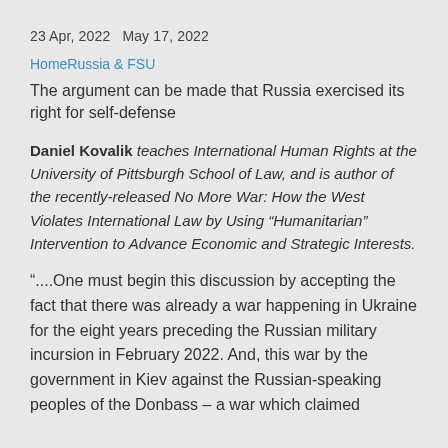23 Apr, 2022   May 17, 2022
HomeRussia & FSU
The argument can be made that Russia exercised its right for self-defense
Daniel Kovalik teaches International Human Rights at the University of Pittsburgh School of Law, and is author of the recently-released No More War: How the West Violates International Law by Using “Humanitarian” Intervention to Advance Economic and Strategic Interests.
“....One must begin this discussion by accepting the fact that there was already a war happening in Ukraine for the eight years preceding the Russian military incursion in February 2022. And, this war by the government in Kiev against the Russian-speaking peoples of the Donbass – a war which claimed